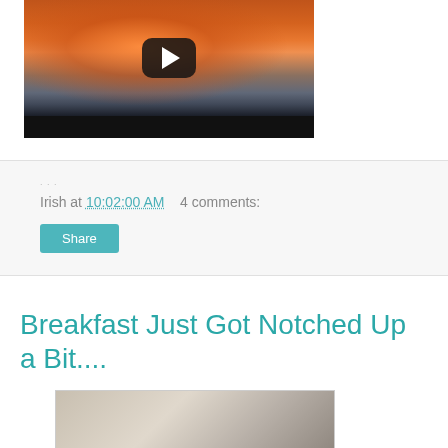[Figure (screenshot): Video thumbnail showing a dramatic orange/red sky with a volcanic plume or storm cloud, with a black video bar at bottom and a YouTube-style play button overlay]
Irish at 10:02:00 AM    4 comments:
Share
Breakfast Just Got Notched Up a Bit....
[Figure (photo): Partial image of what appears to be a food or lifestyle photo, partially visible at the bottom of the page]